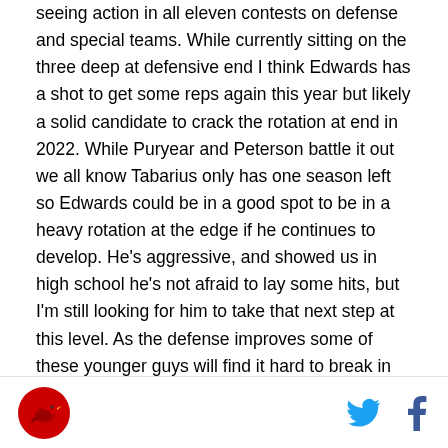seeing action in all eleven contests on defense and special teams. While currently sitting on the three deep at defensive end I think Edwards has a shot to get some reps again this year but likely a solid candidate to crack the rotation at end in 2022. While Puryear and Peterson battle it out we all know Tabarius only has one season left so Edwards could be in a good spot to be in a heavy rotation at the edge if he continues to develop. He's aggressive, and showed us in high school he's not afraid to lay some hits, but I'm still looking for him to take that next step at this level. As the defense improves some of these younger guys will find it hard to break in as quickly as they would have in seasons past but that's good news for Coach Brown and for Louisville.
Logo and social icons (Twitter, Facebook)